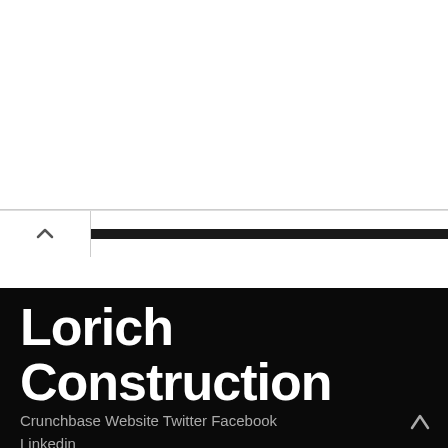[Figure (screenshot): Advertisement banner for Visit Premium Outlets® / Leesburg Premium Outlets, with circular dark logo featuring infinity-like symbol, and a blue diamond navigation icon on the right.]
Lorich Construction
Crunchbase Website Twitter Facebook Linkedin